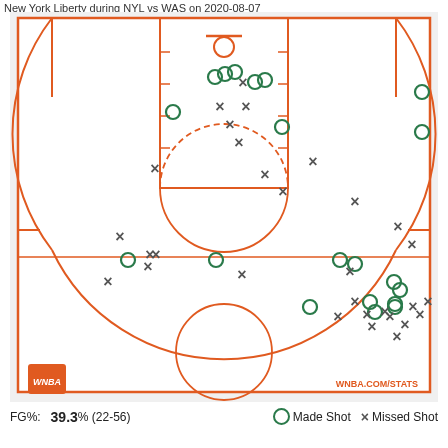New York Liberty during NYL vs WAS on 2020-08-07
[Figure (other): Basketball shot chart showing made shots (green circles) and missed shots (dark X marks) for New York Liberty during NYL vs WAS on 2020-08-07. FG%: 39.3% (22-56).]
FG%: 39.3% (22-56)   O Made Shot   × Missed Shot